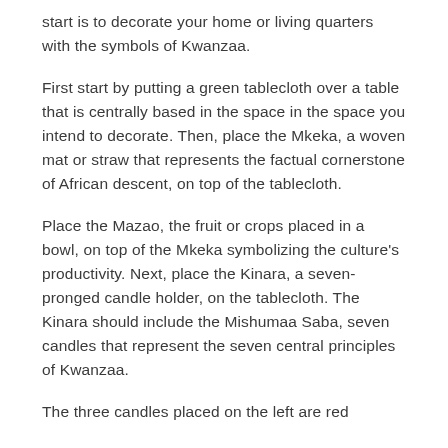start is to decorate your home or living quarters with the symbols of Kwanzaa.
First start by putting a green tablecloth over a table that is centrally based in the space in the space you intend to decorate. Then, place the Mkeka, a woven mat or straw that represents the factual cornerstone of African descent, on top of the tablecloth.
Place the Mazao, the fruit or crops placed in a bowl, on top of the Mkeka symbolizing the culture's productivity. Next, place the Kinara, a seven-pronged candle holder, on the tablecloth. The Kinara should include the Mishumaa Saba, seven candles that represent the seven central principles of Kwanzaa.
The three candles placed on the left are red